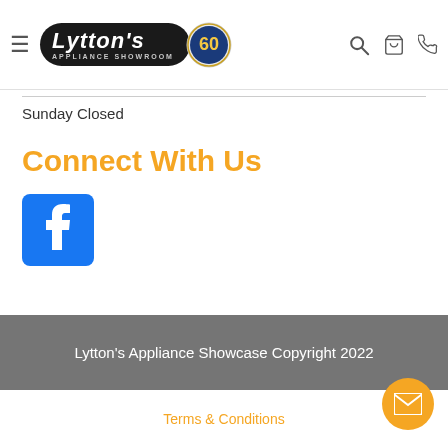[Figure (logo): Lytton's Appliance Showroom logo with 60th anniversary badge, hamburger menu, search, cart, and phone icons in navigation bar]
Sunday Closed
Connect With Us
[Figure (logo): Facebook logo icon (blue square with white 'f')]
Lytton's Appliance Showcase Copyright 2022
Terms & Conditions